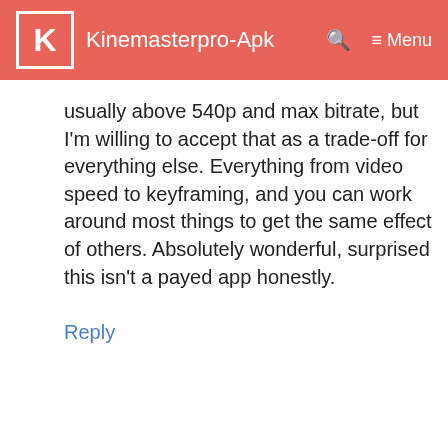K Kinemasterpro-Apk  🔍  ≡ Menu
usually above 540p and max bitrate, but I'm willing to accept that as a trade-off for everything else. Everything from video speed to keyframing, and you can work around most things to get the same effect of others. Absolutely wonderful, surprised this isn't a payed app honestly.
Reply